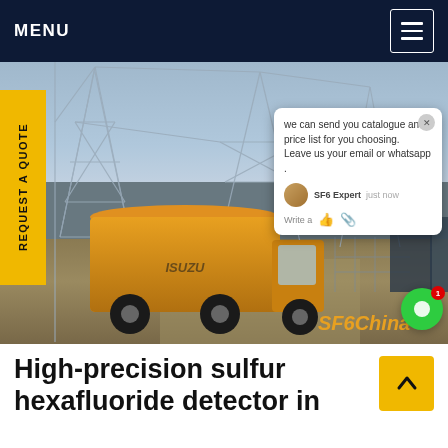MENU
[Figure (photo): Photograph of an orange Isuzu truck at an industrial electrical substation site with transmission towers. A live chat popup overlay is visible on the right side of the image with the text 'we can send you catalogue and price list for you choosing. Leave us your email or whatsapp.' with SF6 Expert shown as sender. SF6China watermark in bottom right corner. A yellow vertical 'REQUEST A QUOTE' tab is on the left side.]
High-precision sulfur hexafluoride detector in